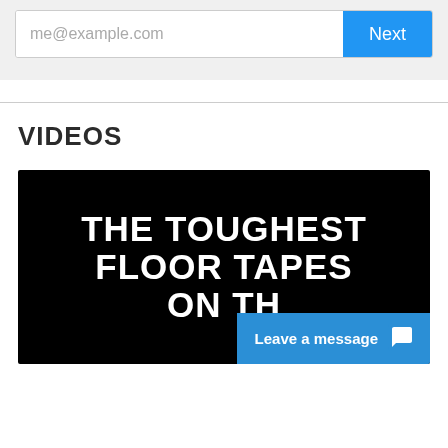[Figure (screenshot): Email input form with placeholder 'me@example.com' and a blue 'Next' button on a light grey background]
VIDEOS
[Figure (screenshot): Video thumbnail with black background showing white bold text 'THE TOUGHEST FLOOR TAPES ON TH...' with a blue 'Leave a message' chat widget overlay in the bottom right corner]